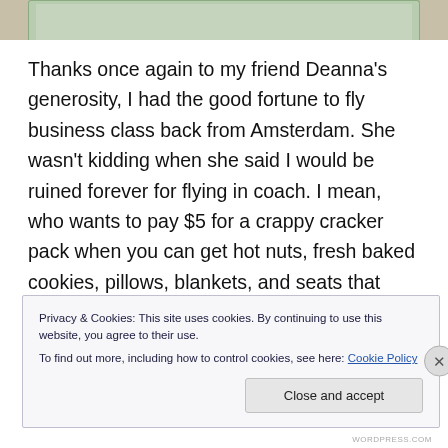[Figure (photo): Partial photo strip at top of page showing what appears to be food or travel-related image, cropped]
Thanks once again to my friend Deanna's generosity, I had the good fortune to fly business class back from Amsterdam. She wasn't kidding when she said I would be ruined forever for flying in coach. I mean, who wants to pay $5 for a crappy cracker pack when you can get hot nuts, fresh baked cookies, pillows, blankets, and seats that recline into beds. Business class is indeed both a blessing and a curse.
Privacy & Cookies: This site uses cookies. By continuing to use this website, you agree to their use.
To find out more, including how to control cookies, see here: Cookie Policy